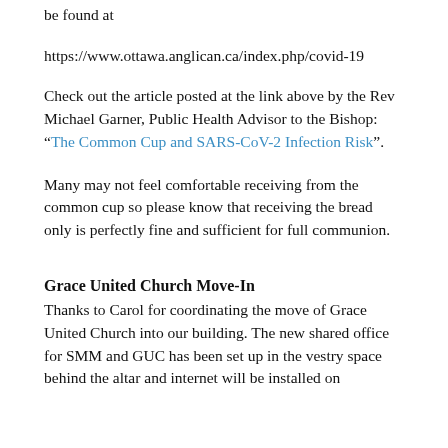be found at
https://www.ottawa.anglican.ca/index.php/covid-19
Check out the article posted at the link above by the Rev Michael Garner, Public Health Advisor to the Bishop:
“The Common Cup and SARS-CoV-2 Infection Risk”.
Many may not feel comfortable receiving from the common cup so please know that receiving the bread only is perfectly fine and sufficient for full communion.
Grace United Church Move-In
Thanks to Carol for coordinating the move of Grace United Church into our building. The new shared office for SMM and GUC has been set up in the vestry space behind the altar and internet will be installed on